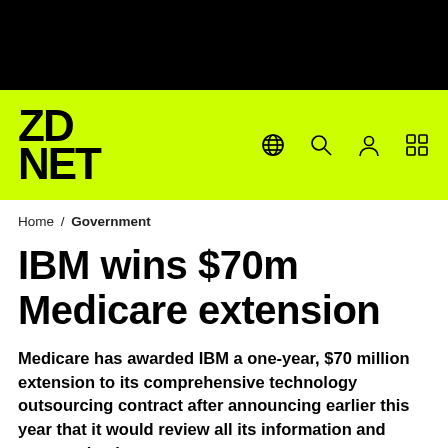[Figure (logo): Black top bar background]
ZDNET logo with navigation icons (globe, search, user, grid) on lime green background
Home / Government
IBM wins $70m Medicare extension
Medicare has awarded IBM a one-year, $70 million extension to its comprehensive technology outsourcing contract after announcing earlier this year that it would review all its information and communications